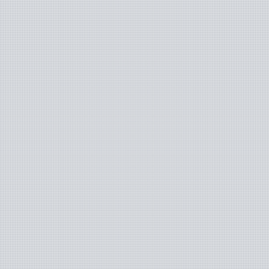Web Has Become Bloated and Slow
Gemini Graduating to Class Citizen
Links 27/06/2022: New Curl and Okular Digital Signing
Links 27/06/2022: GN… Design Rant
IRC Proceedings: Sunday, June 26, 2022
Links 26/06/2022: Lin… 5.19 RC4
Links 26/06/2022: New Stable Kernels and Freedom of the Press Trial
Links 26/06/2022: Windows vs GNU/Linux and Mixtile Edge 2 Ki…
Links 26/06/2022: She… 22.06 and More Netflix Layoffs
IRC Proceedings: